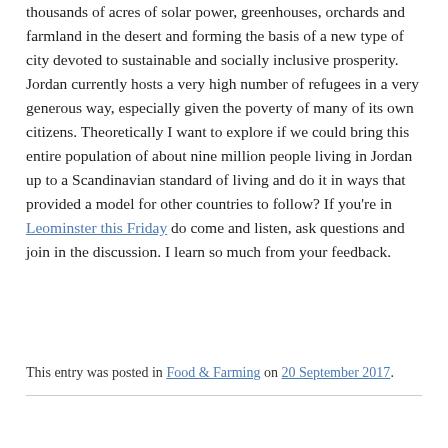thousands of acres of solar power, greenhouses, orchards and farmland in the desert and forming the basis of a new type of city devoted to sustainable and socially inclusive prosperity. Jordan currently hosts a very high number of refugees in a very generous way, especially given the poverty of many of its own citizens. Theoretically I want to explore if we could bring this entire population of about nine million people living in Jordan up to a Scandinavian standard of living and do it in ways that provided a model for other countries to follow? If you're in Leominster this Friday do come and listen, ask questions and join in the discussion. I learn so much from your feedback.
This entry was posted in Food & Farming on 20 September 2017.